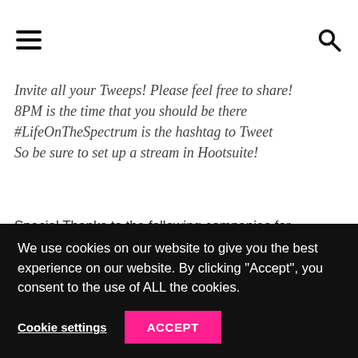≡  🔍
Invite all your Tweeps! Please feel free to share!
8PM is the time that you should be there
#LifeOnTheSpectrum is the hashtag to Tweet
So be sure to set up a stream in Hootsuite!
Special Thanks to the following companies for supporting Autism Awareness by providing prizes for our #LifeOnTheSpectrum Twitter Party!:
We use cookies on our website to give you the best experience on our website. By clicking "Accept", you consent to the use of ALL the cookies.
Cookie settings
ACCEPT